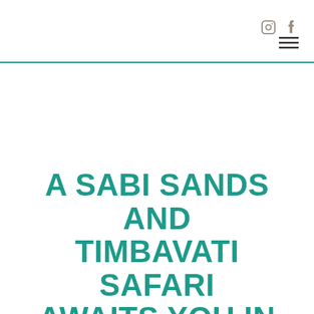Instagram Facebook menu
A SABI SANDS AND TIMBAVATI SAFARI AWAITS YOU IN 2022